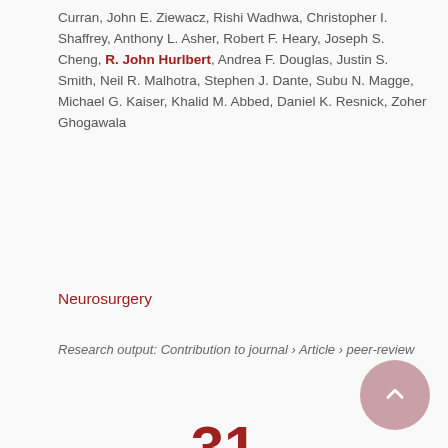Curran, John E. Ziewacz, Rishi Wadhwa, Christopher I. Shaffrey, Anthony L. Asher, Robert F. Heary, Joseph S. Cheng, R. John Hurlbert, Andrea F. Douglas, Justin S. Smith, Neil R. Malhotra, Stephen J. Dante, Subu N. Magge, Michael G. Kaiser, Khalid M. Abbed, Daniel K. Resnick, Zoher Ghogawala
Neurosurgery
Research output: Contribution to journal › Article › peer-review
31 Scopus citations